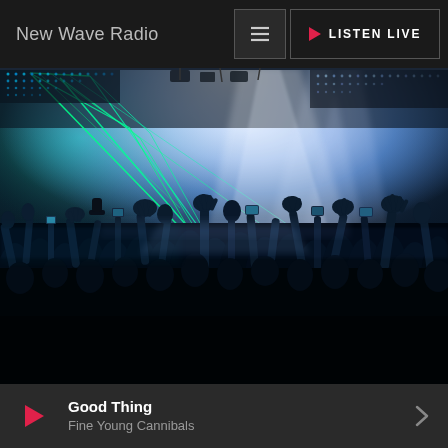New Wave Radio
[Figure (photo): Concert crowd with hands raised, blue and green laser lights illuminating smoke-filled venue from behind the audience silhouettes]
Good Thing
Fine Young Cannibals